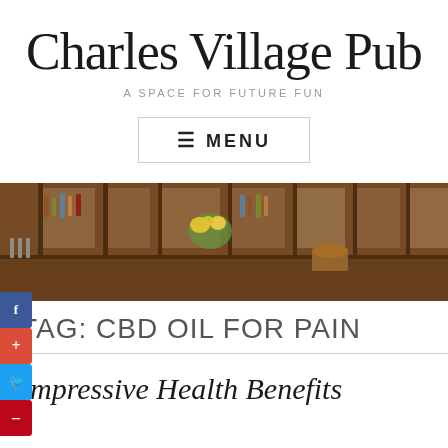Charles Village Pub
A SPACE FOR FUTURE FUN
≡ MENU
[Figure (photo): Interior of a traditional pub bar with dark wooden paneling, shelves of bottles, mirrors, and flower arrangements along the counter.]
TAG: CBD OIL FOR PAIN
Impressive Health Benefits